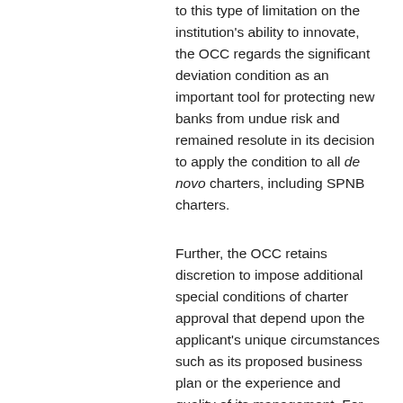to this type of limitation on the institution's ability to innovate, the OCC regards the significant deviation condition as an important tool for protecting new banks from undue risk and remained resolute in its decision to apply the condition to all de novo charters, including SPNB charters.
Further, the OCC retains discretion to impose additional special conditions of charter approval that depend upon the applicant's unique circumstances such as its proposed business plan or the experience and quality of its management. For example, the draft Supplement